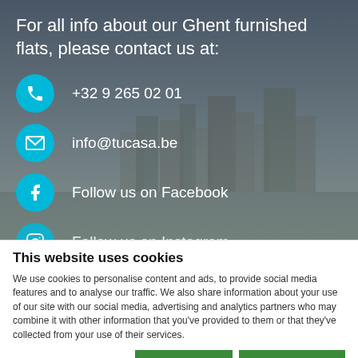For all info about our Ghent furnished flats, please contact us at:
+32 9 265 02 01
info@tucasa.be
Follow us on Facebook
Follow us on Instagram
This website uses cookies
We use cookies to personalise content and ads, to provide social media features and to analyse our traffic. We also share information about your use of our site with our social media, advertising and analytics partners who may combine it with other information that you've provided to them or that they've collected from your use of their services.
Allow selection | Allow all cookies
Necessary | Preferences | Statistics | Marketing | Show details